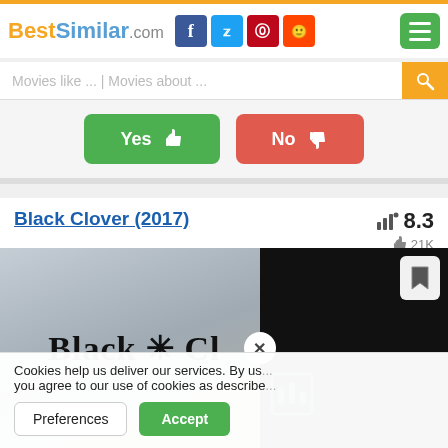BestSimilar.com
Movies like ... | Movies about ...
Yes 👍  No 👎
Black Clover (2017)
8.3  👍 21K
[Figure (screenshot): Black Clover (2017) movie card image with gothic-style title text on a cloudy background, partially covered by a dark overlay panel with a close button and Bandsintown icon. A bookmark button appears in the top right corner.]
Cookies help us deliver our services. By us... you agree to our use of cookies as describe...
Preferences   Accept